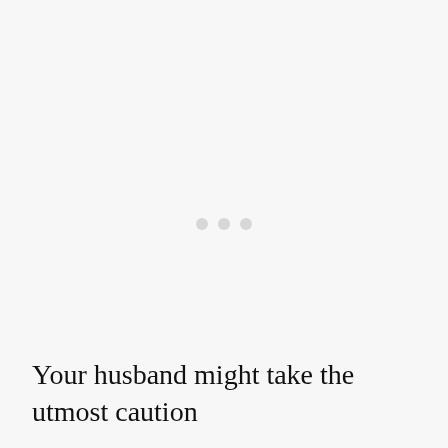[Figure (other): Three blurred grey dots arranged horizontally in the center of the page, resembling a loading indicator.]
Your husband might take the utmost caution